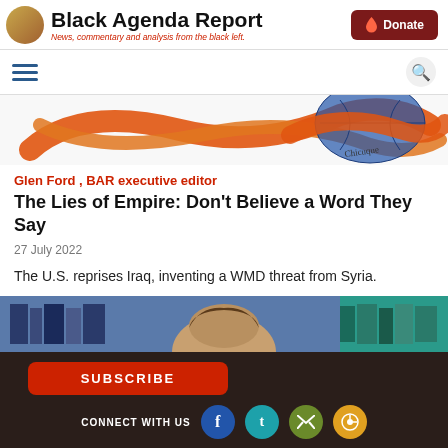Black Agenda Report — News, commentary and analysis from the black left.
[Figure (illustration): Colorful illustrated banner with intertwined orange ribbon shapes over a globe, with a signature]
Glen Ford , BAR executive editor
The Lies of Empire: Don't Believe a Word They Say
27 July 2022
The U.S. reprises Iraq, inventing a WMD threat from Syria.
[Figure (photo): Partial photo of a person from a TV broadcast or video, showing top of head, with blue and teal background]
SUBSCRIBE | CONNECT WITH US | ABOUT US | CONTACT US